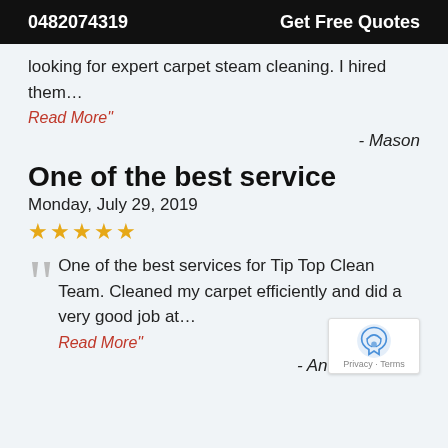0482074319   Get Free Quotes
looking for expert carpet steam cleaning. I hired them…
Read More"
- Mason
One of the best service
Monday, July 29, 2019
★★★★★
"One of the best services for Tip Top Clean Team. Cleaned my carpet efficiently and did a very good job at…
Read More"
- Andrew Wilson